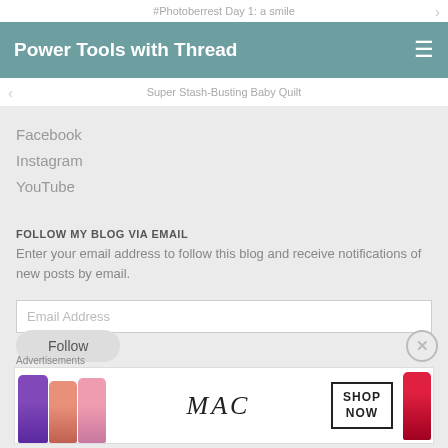#Photoberrest Day 1: a smile
Power Tools with Thread
Super Stash-Busting Baby Quilt
Facebook
Instagram
YouTube
FOLLOW MY BLOG VIA EMAIL
Enter your email address to follow this blog and receive notifications of new posts by email.
Email Address
Follow
Advertisements
[Figure (photo): MAC cosmetics advertisement showing colorful lipsticks and SHOP NOW button]